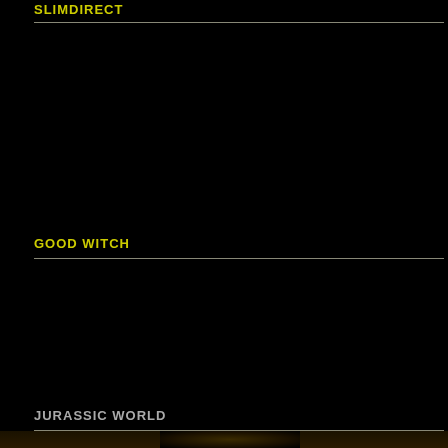SLIMDIRECT
GOOD WITCH
JURASSIC WORLD